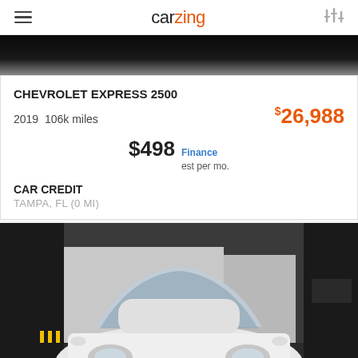carzing
[Figure (photo): Partial top view of a dark vehicle, cropped]
CHEVROLET EXPRESS 2500
2019  106k miles   $26,988
$498 Finance est per mo.
CAR CREDIT
TAMPA, FL (0 mi)
[Figure (photo): Front view of a white Kia car in a parking area]